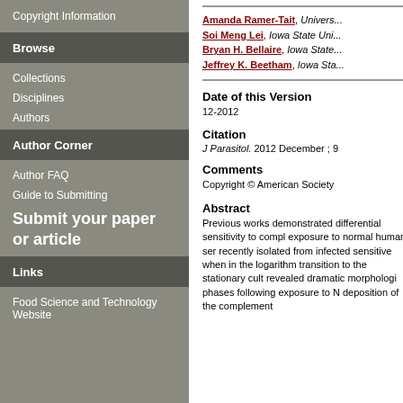Copyright Information
Browse
Collections
Disciplines
Authors
Author Corner
Author FAQ
Guide to Submitting
Submit your paper or article
Links
Food Science and Technology Website
Amanda Ramer-Tait, Univers... Soi Meng Lei, Iowa State Uni... Bryan H. Bellaire, Iowa State... Jeffrey K. Beetham, Iowa Sta...
Date of this Version
12-2012
Citation
J Parasitol. 2012 December ; 9
Comments
Copyright © American Society
Abstract
Previous works demonstrated differential sensitivity to compl exposure to normal human ser recently isolated from infected sensitive when in the logarithm transition to the stationary cult revealed dramatic morphologi phases following exposure to N deposition of the complement